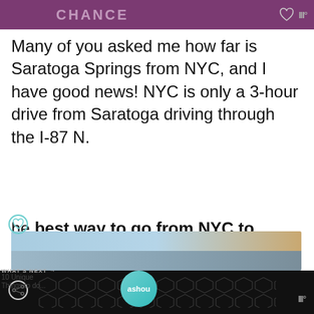[Figure (screenshot): Purple banner with cat images and heart/weather icons at top]
Many of you asked me how far is Saratoga Springs from NYC, and I have good news! NYC is only a 3-hour drive from Saratoga driving through the I-87 N.
The best way to go from NYC to Saratoga Springs is by car, but you can also get there by train (Amtrak) or plane from Albany airport.
[Figure (photo): Photo of building with blue sky, partially visible at bottom]
[Figure (other): Dark bottom bar with hexagonal pattern and weather icon]